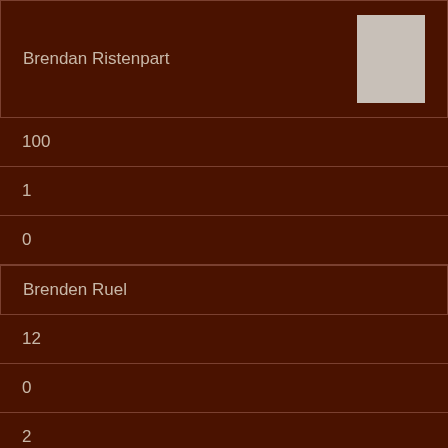Brendan Ristenpart
100
1
0
Brenden Ruel
12
0
2
Brent McCammox